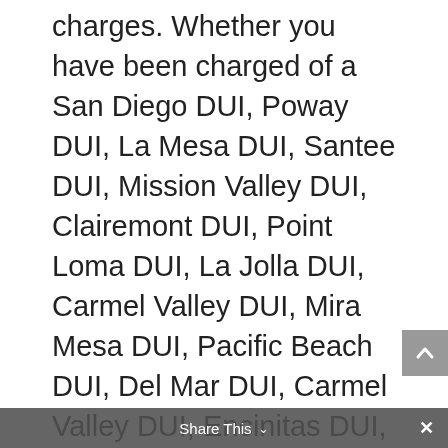charges. Whether you have been charged of a San Diego DUI, Poway DUI, La Mesa DUI, Santee DUI, Mission Valley DUI, Clairemont DUI, Point Loma DUI, La Jolla DUI, Carmel Valley DUI, Mira Mesa DUI, Pacific Beach DUI, Del Mar DUI, Carmel Valley DUI, Encinitas DUI, Oceanside DUI, Ocean Beach DUI, Escondido DUI, Vista DUI, San Marcos DUI, Carlsbad DUI, El Cajon DUI it is vital you need to hire an attorney who knows how to defend your rights and can determine if the government can prove their case. Contact the Law Office of Mark Deniz now for a free case evaluation at 858-751-4384 or send an email to
Share This ∨   ×